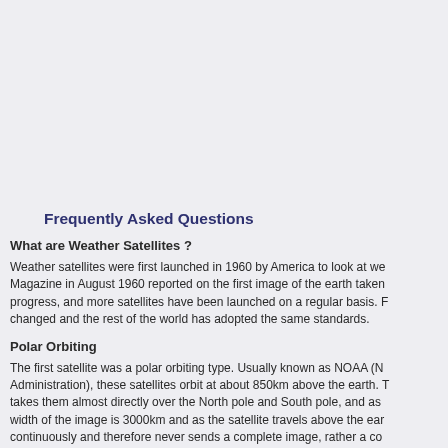Frequently Asked Questions
What are Weather Satellites ?
Weather satellites were first launched in 1960 by America to look at we... Magazine in August 1960 reported on the first image of the earth taken... progress, and more satellites have been launched on a regular basis. F... changed and the rest of the world has adopted the same standards.
Polar Orbiting
The first satellite was a polar orbiting type. Usually known as NOAA (N... Administration), these satellites orbit at about 850km above the earth. T... takes them almost directly over the North pole and South pole, and as... width of the image is 3000km and as the satellite travels above the ear... continuously and therefore never sends a complete image, rather a co... VHF radio to transmit their information directly into your home or office... the satellite is receivable when it comes above your horizon, which ca...